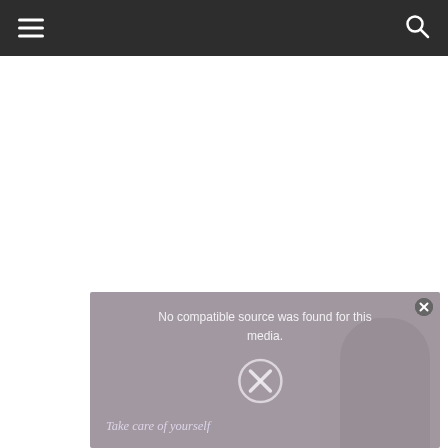Navigation bar with hamburger menu and search icon
[Figure (screenshot): Video player overlay showing error message 'No compatible source was found for this media.' with an X icon and text 'Take care of yourself' at the bottom, overlaid on a partially visible photo of a person wearing a headset]
No compatible source was found for this media.
Take care of yourself